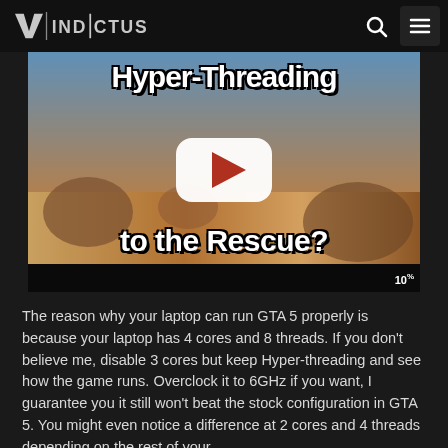VINDICTUS
[Figure (screenshot): YouTube video thumbnail showing a first-person shooter game (Battlefield) with text overlay 'Hyper-Threading to the Rescue?' and a YouTube play button in the center]
The reason why your laptop can run GTA 5 properly is because your laptop has 4 cores and 8 threads. If you don't believe me, disable 3 cores but keep Hyper-threading and see how the game runs. Overclock it to 6GHz if you want, I guarantee you it still won't beat the stock configuration in GTA 5. You might even notice a difference at 2 cores and 4 threads depending on the rest of your